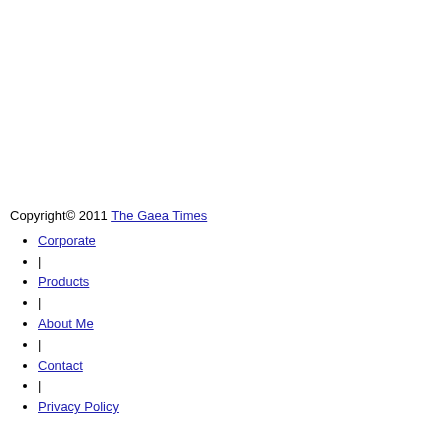Copyright© 2011 The Gaea Times
Corporate
|
Products
|
About Me
|
Contact
|
Privacy Policy